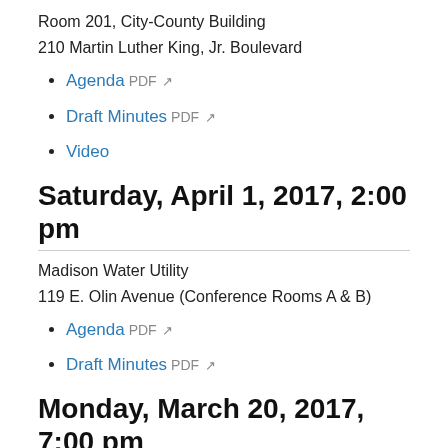Room 201, City-County Building
210 Martin Luther King, Jr. Boulevard
Agenda PDF ↗
Draft Minutes PDF ↗
Video
Saturday, April 1, 2017, 2:00 pm
Madison Water Utility
119 E. Olin Avenue (Conference Rooms A & B)
Agenda PDF ↗
Draft Minutes PDF ↗
Monday, March 20, 2017, 7:00 pm
Room 321, City-County Building